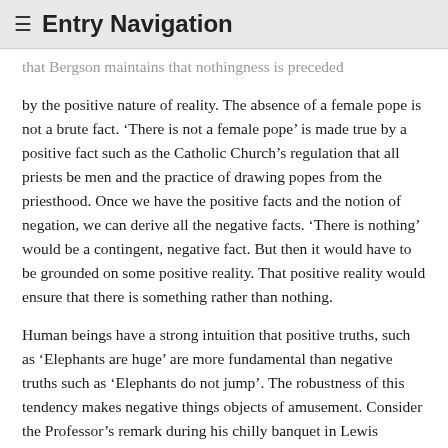≡ Entry Navigation
...that Bergson maintains that nothingness is preceded by the positive nature of reality. The absence of a female pope is not a brute fact. 'There is not a female pope' is made true by a positive fact such as the Catholic Church's regulation that all priests be men and the practice of drawing popes from the priesthood. Once we have the positive facts and the notion of negation, we can derive all the negative facts. 'There is nothing' would be a contingent, negative fact. But then it would have to be grounded on some positive reality. That positive reality would ensure that there is something rather than nothing.
Human beings have a strong intuition that positive truths, such as 'Elephants are huge' are more fundamental than negative truths such as 'Elephants do not jump'. The robustness of this tendency makes negative things objects of amusement. Consider the Professor's remark during his chilly banquet in Lewis Carroll's Sylvie and Bruno Concluded.
“I hope you’ll enjoy the dinner—such as it is; and